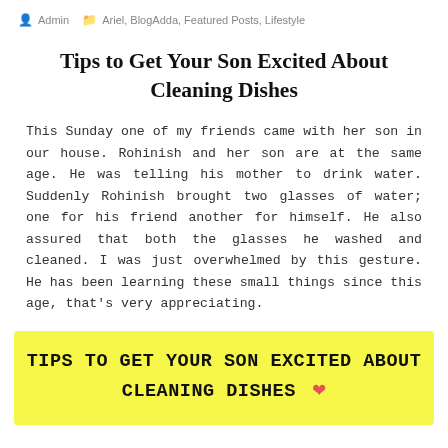Admin  Ariel, BlogAdda, Featured Posts, Lifestyle
Tips to Get Your Son Excited About Cleaning Dishes
This Sunday one of my friends came with her son in our house. Rohinish and her son are at the same age. He was telling his mother to drink water. Suddenly Rohinish brought two glasses of water; one for his friend another for himself. He also assured that both the glasses he washed and cleaned. I was just overwhelmed by this gesture. He has been learning these small things since this age, that's very appreciating.
[Figure (illustration): Yellow banner with bold uppercase text reading 'TIPS TO GET YOUR SON EXCITED ABOUT CLEANING DISHES' with a pink/red heart emoji]